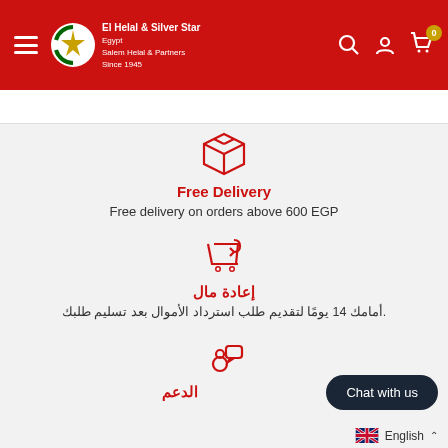[Figure (screenshot): Navigation header with hamburger menu, El Helal & Silver Star Egypt logo, search icon, user icon, and cart icon with badge showing 0]
[Figure (illustration): Red outlined box/package icon for Free Delivery section]
Free Delivery
Free delivery on orders above 600 EGP
[Figure (illustration): Red outlined return cart icon for money-back section]
إعادة مال
.أمامك 14 يومًا لتقديم طلب استرداد الأموال بعد تسليم طلبك
[Figure (illustration): Red outlined person with speech bubble icon for support section]
الدعم
Chat with us